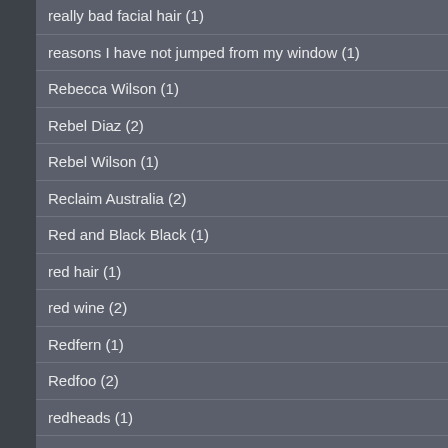really bad facial hair (1)
reasons I have not jumped from my window (1)
Rebecca Wilson (1)
Rebel Diaz (2)
Rebel Wilson (1)
Reclaim Australia (2)
Red and Black Black (1)
red hair (1)
red wine (2)
Redfern (1)
Redfoo (2)
redheads (1)
refugees (5)
revolution (3)
Ricky Ponting (2)
Roaring Jack (1)
roast chicken (1)